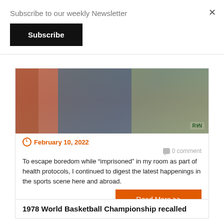Subscribe to our weekly Newsletter
Subscribe
[Figure (photo): Group of people wearing face masks, including a woman in striped top, a woman in dark top, a man in colorful hat, and a person in scrubs with RN badge]
February 10, 2022
0 comment
To escape boredom while “imprisoned” in my room as part of health protocols, I continued to digest the latest happenings in the sports scene here and abroad.
Read More >>
1978 World Basketball Championship recalled